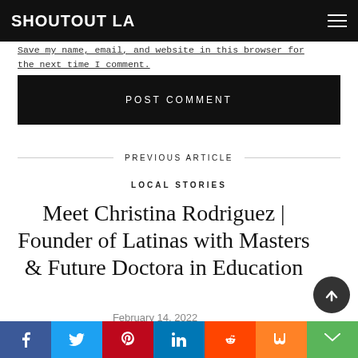SHOUTOUT LA
Save my name, email, and website in this browser for the next time I comment.
POST COMMENT
PREVIOUS ARTICLE
LOCAL STORIES
Meet Christina Rodriguez | Founder of Latinas with Masters & Future Doctora in Education
February 14, 2022